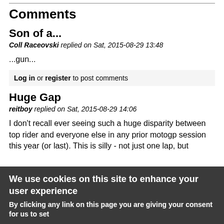Comments
Son of a...
Coll Raceovski replied on Sat, 2015-08-29 13:48
...gun...
Log in or register to post comments
Huge Gap
reitboy replied on Sat, 2015-08-29 14:06
I don't recall ever seeing such a huge disparity between top rider and everyone else in any prior motogp session this year (or last). This is silly - not just one lap, but
We use cookies on this site to enhance your user experience
By clicking any link on this page you are giving your consent for us to set